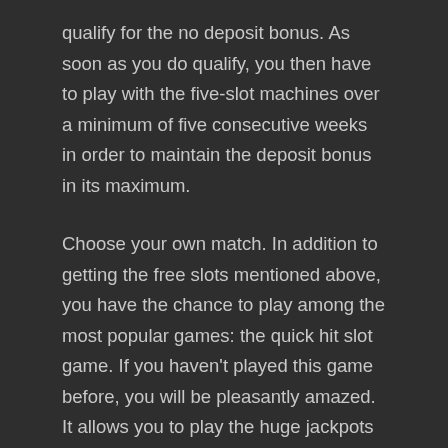qualify for the no deposit bonus. As soon as you do qualify, you then have to play with the five-slot machines over a minimum of five consecutive weeks in order to maintain the deposit bonus in its maximum.
Choose your own match. In addition to getting the free slots mentioned above, you have the chance to play among the most popular games: the quick hit slot game. If you haven't played this game before, you will be pleasantly amazed. It allows you to play the huge jackpots for free while you get your gold! If you've been playing everyday slot games, you'll be very surprised at how much fun this one would be to